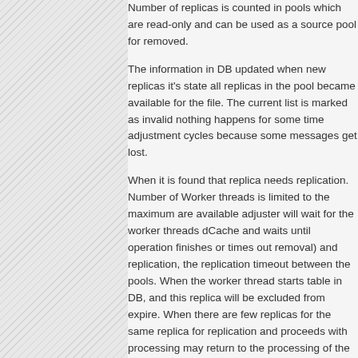Number of replicas is counted in pools which are read-only and can be used as a source pool for removed.
The information in DB updated when new replicas it's state all replicas in the pool became available for the file. The current list is marked as invalid nothing happens for some time adjustment cycles because some messages get lost.
When it is found that replica needs replication. Number of Worker threads is limited to the maximum are available adjuster will wait for the worker threads dCache and waits until operation finishes or times out removal) and replication, the replication timeout between the pools. When the worker thread starts table in DB, and this replica will be excluded from expire. When there are few replicas for the same replica for replication and proceeds with processing may return to the processing of the other replicas with the file complete.
Sometimes Adjuster gets error on operation with same replica again this "unresolved" error happens